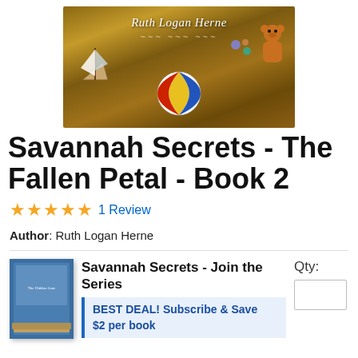[Figure (illustration): Book cover of Savannah Secrets - The Fallen Petal by Ruth Logan Herne, showing a colorful illustrated scene with toys, a sailboat, a beach ball, and a teddy bear on a warm-toned background.]
Savannah Secrets - The Fallen Petal - Book 2
★★★★★ 1 Review
Author: Ruth Logan Herne
[Figure (illustration): Small thumbnail image of Savannah Secrets book series stack showing multiple books.]
Savannah Secrets - Join the Series
BEST DEAL! Subscribe & Save $2 per book
Qty: